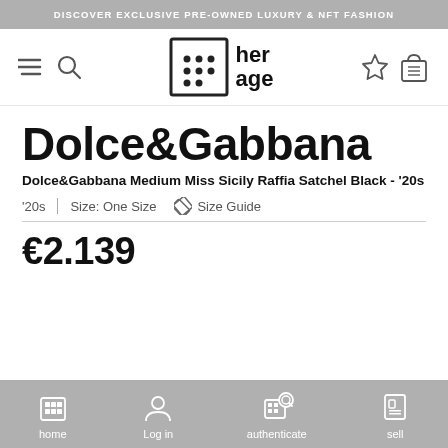DISCOVER EXCLUSIVE PRE-OWNED LUXURY & NFT FASHION
[Figure (logo): her age logo with grid icon, hamburger menu, search, star/wishlist, and bag icons in navigation bar]
Dolce&Gabbana
Dolce&Gabbana Medium Miss Sicily Raffia Satchel Black - '20s
'20s | Size: One Size  ✏ Size Guide
€2.139
home  Log in  authenticate  sell